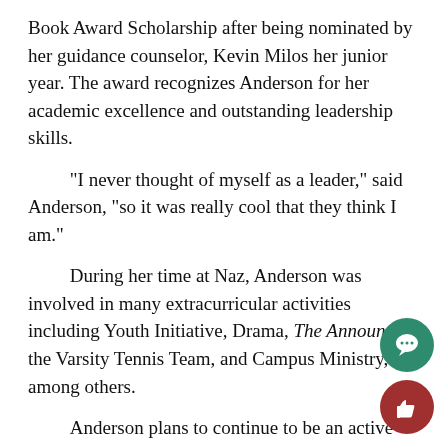Book Award Scholarship after being nominated by her guidance counselor, Kevin Milos her junior year. The award recognizes Anderson for her academic excellence and outstanding leadership skills.
“I never thought of myself as a leader,” said Anderson, “so it was really cool that they think I am.”
During her time at Naz, Anderson was involved in many extracurricular activities including Youth Initiative, Drama, The Announcer, the Varsity Tennis Team, and Campus Ministry, among others.
Anderson plans to continue to be an active participant in college activities as well. At GWU, she plans on taking advantage of the Campus Scholars program to which she was admitted. She would like to be a tour guide because she thinks it would be “super fun!”